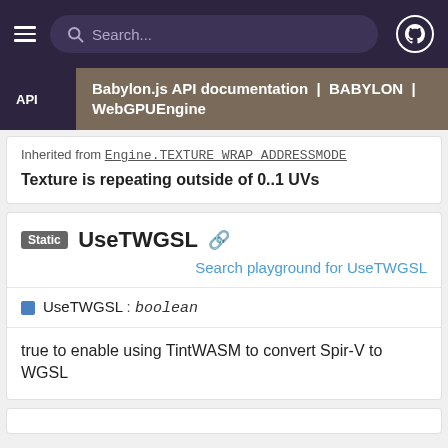Search...
API | Babylon.js API documentation | BABYLON | WebGPUEngine
Inherited from Engine.TEXTURE_WRAP_ADDRESSMODE
Texture is repeating outside of 0..1 UVs
Static UseTWGSL
Search playground for UseTWGSL
UseTWGSL : boolean
true to enable using TintWASM to convert Spir-V to WGSL